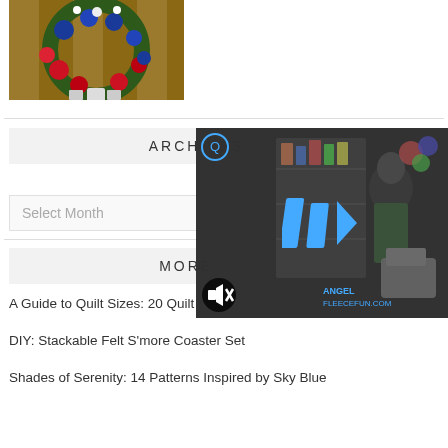[Figure (photo): Patriotic flower wreath with red, white, and blue flowers and ribbons hanging on a wooden fence]
ARCHIVES
Select Month
MORE...
[Figure (screenshot): Video player overlay showing a woman in a craft room with a play button and mute icon, branded with Angel FleeceFun.com]
A Guide to Quilt Sizes: 20 Quilt Patterns
DIY: Stackable Felt S'more Coaster Set
Shades of Serenity: 14 Patterns Inspired by Sky Blue